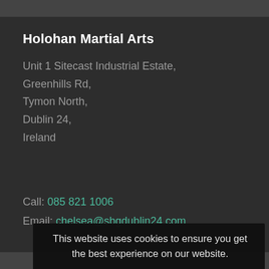Holohan Martial Arts
Unit 1 Sitecast Industrial Estate,
Greenhills Rd,
Tymon North,
Dublin 24,
Ireland
Call: 085 821 1006
Email: chelsea@sbgdublin24.com
This website uses cookies to ensure you get the best experience on our website.
Learn more
Proudly sponsored by
[Figure (logo): CGX digital logo with stylized text]
Got it!